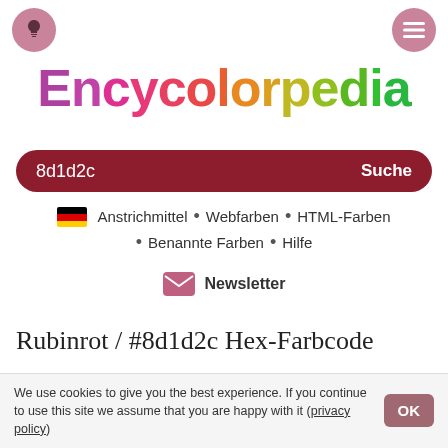Encycolorpedia — header with lightbulb and menu icons
Encycolorpedia
8d1d2c   Suche
Anstrichmittel • Webfarben • HTML-Farben • Benannte Farben • Hilfe
Newsletter
Rubinrot / #8d1d2c Hex-Farbcode
Die Farbe rubinrot mit dem hexadezimalen
We use cookies to give you the best experience. If you continue to use this site we assume that you are happy with it (privacy policy)